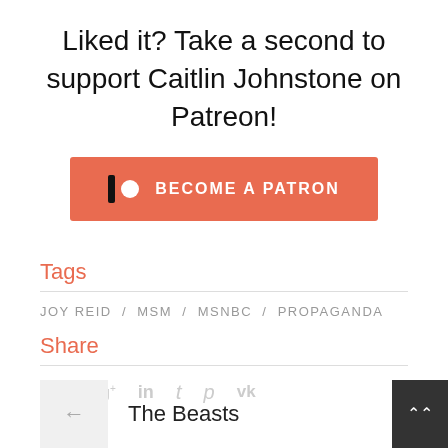Liked it? Take a second to support Caitlin Johnstone on Patreon!
[Figure (other): Patreon 'Become a Patron' button with coral/red-orange background, Patreon logo (vertical bar and circle), and bold white uppercase text 'BECOME A PATRON']
Tags
JOY REID / MSM / MSNBC / PROPAGANDA
Share
f  𝑦  g+  in  t  𝑝  vk  (social share icons)
← The Beasts